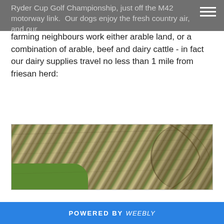Ryder Cup Golf Championship, just off the M42 motorway link. Our dogs enjoy the fresh country air, and our
farming neighbours work either arable land, or a combination of arable, beef and dairy cattle - in fact our dairy supplies travel no less than 1 mile from friesan herd:
[Figure (photo): Aerial or close-up photograph of farmland showing textured arable fields with a green patch and a curved boundary line visible at the right.]
POWERED BY weebly